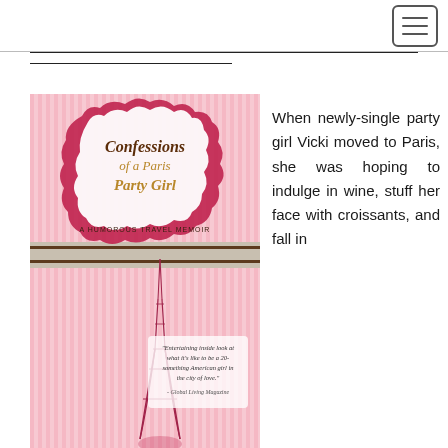[Navigation bar with hamburger menu]
[Figure (illustration): Book cover of 'Confessions of a Paris Party Girl - A Humorous Travel Memoir' with pink striped background, decorative frame with cursive title text, and Eiffel Tower illustration with a quote from Global Living Magazine: 'Entertaining inside look at what it's like to be a 20-something American girl in the city of love.']
When newly-single party girl Vicki moved to Paris, she was hoping to indulge in wine, stuff her face with croissants, and fall in